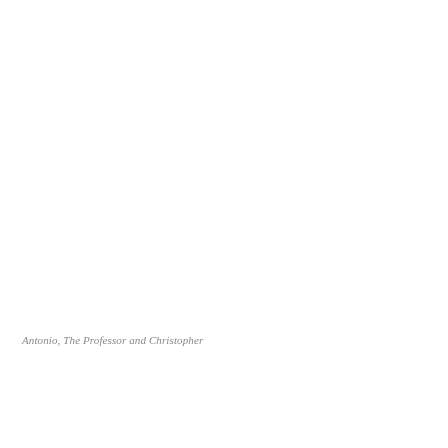Antonio, The Professor and Christopher